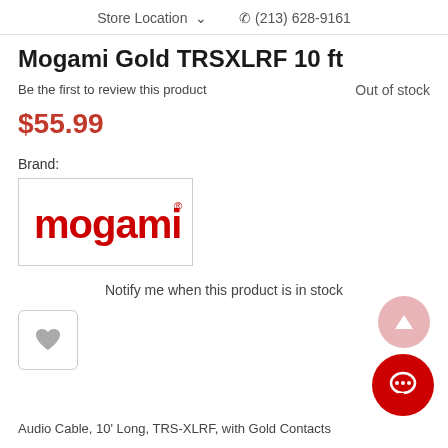Store Location  (213) 628-9161
Mogami Gold TRSXLRF 10 ft
Be the first to review this product
Out of stock
$55.99
Brand:
[Figure (logo): Mogami brand logo in red bold text with registered trademark symbol]
Notify me when this product is in stock
[Figure (other): Wishlist heart button (square outline with grey heart icon)]
Audio Cable, 10' Long, TRS-XLRF, with Gold Contacts